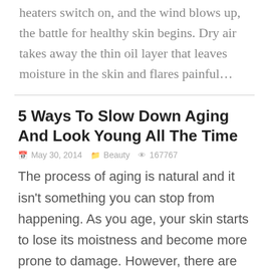heaters switch on, and the wind blows up, the battle for healthy skin begins. Dry air takes away the thin oil layer that leaves moisture in the skin and flares painful...
5 Ways To Slow Down Aging And Look Young All The Time
May 30, 2014   Beauty   167767
The process of aging is natural and it isn't something you can stop from happening. As you age, your skin starts to lose its moistness and become more prone to damage. However, there are many